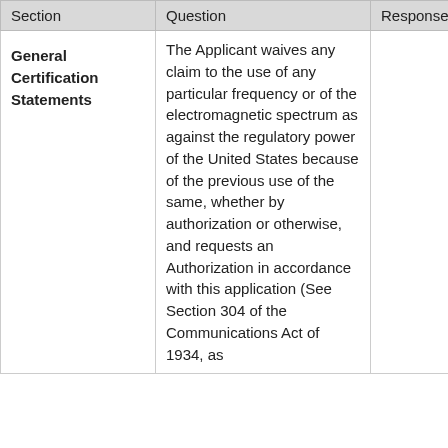| Section | Question | Response |
| --- | --- | --- |
| General Certification Statements | The Applicant waives any claim to the use of any particular frequency or of the electromagnetic spectrum as against the regulatory power of the United States because of the previous use of the same, whether by authorization or otherwise, and requests an Authorization in accordance with this application (See Section 304 of the Communications Act of 1934, as |  |